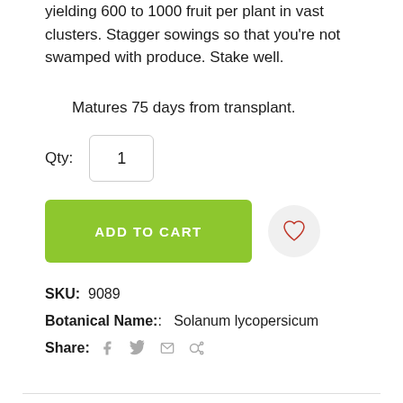yielding 600 to 1000 fruit per plant in vast clusters. Stagger sowings so that you're not swamped with produce. Stake well.
Matures 75 days from transplant.
Qty: 1
ADD TO CART
SKU:  9089
Botanical Name: :  Solanum lycopersicum
Share: